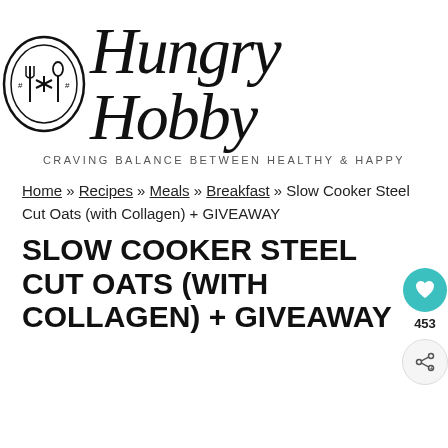[Figure (logo): Hungry Hobby logo with circular fork/spoon icon and script text, tagline: CRAVING BALANCE BETWEEN HEALTHY & HAPPY]
Home » Recipes » Meals » Breakfast » Slow Cooker Steel Cut Oats (with Collagen) + GIVEAWAY
SLOW COOKER STEEL CUT OATS (WITH COLLAGEN) + GIVEAWAY